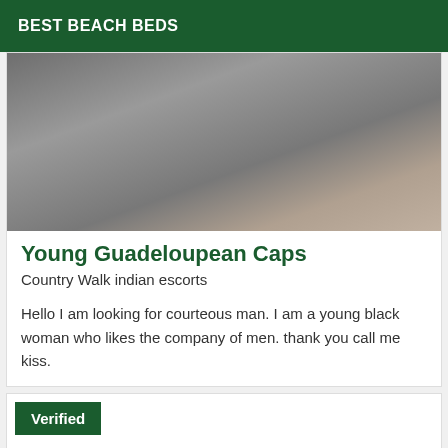BEST BEACH BEDS
[Figure (photo): Photo of a person wearing a grey top, seated, photographed from above/side angle]
Young Guadeloupean Caps
Country Walk indian escorts
Hello I am looking for courteous man. I am a young black woman who likes the company of men. thank you call me kiss.
Verified